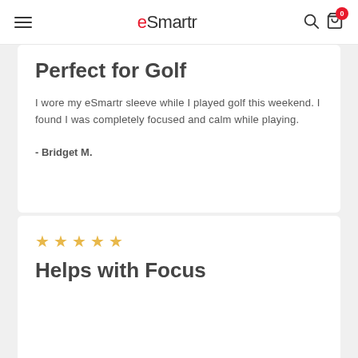eSmartr — navigation bar with hamburger menu, logo, search icon, and cart icon with badge 0
Perfect for Golf
I wore my eSmartr sleeve while I played golf this weekend. I found I was completely focused and calm while playing.
- Bridget M.
Helps with Focus